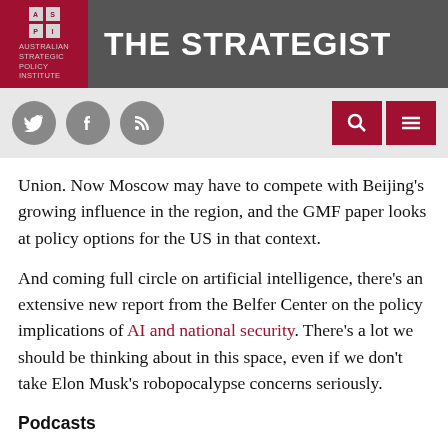THE STRATEGIST — ASPI Australian Strategic Policy Institute
Union. Now Moscow may have to compete with Beijing's growing influence in the region, and the GMF paper looks at policy options for the US in that context.
And coming full circle on artificial intelligence, there's an extensive new report from the Belfer Center on the policy implications of AI and national security. There's a lot we should be thinking about in this space, even if we don't take Elon Musk's robopocalypse concerns seriously.
Podcasts
This week's episode of The Spear from the Modern War Institute looks at the 2003 invasion of Iraq from the perspective of Maj. John Spencer. Spencer was a platoon leader during the invasion and offers some unique first-person accounts.